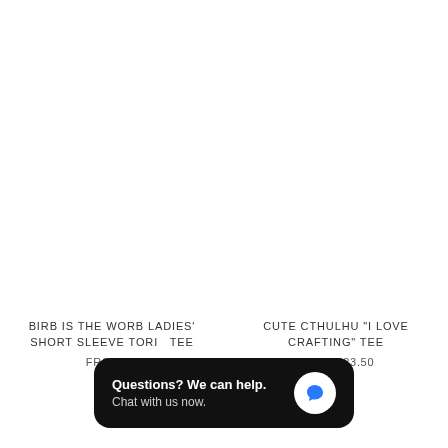BIRB IS THE WORB LADIES' SHORT SLEEVE TORI TEE
FROM $2
CUTE CTHULHU "I LOVE CRAFTING" TEE
FROM $23.50
Questions? We can help. Chat with us now.